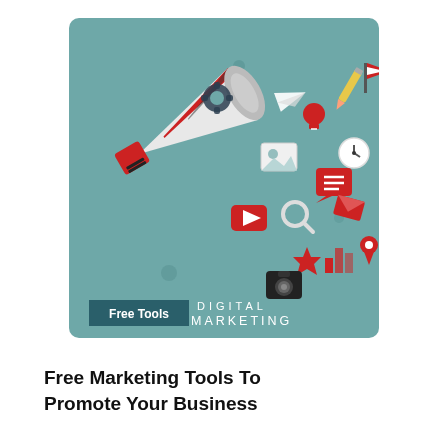[Figure (illustration): Digital Marketing illustration on a teal/muted-blue rounded-rectangle background. A large red-and-white megaphone points to the right, with various marketing icons flying out: a gear/cog, a paper plane, a lightbulb, a pencil, a flag/pennant, a clock, a photo/image icon, a chat bubble with lines, a YouTube play-button square, a magnifying glass, a red star, a bar chart, a location pin, a camera, and an envelope/email icon. At the bottom-left inside the image, a dark teal rectangular badge reads 'Free Tools' in white, followed by the words 'DIGITAL MARKETING' in large spaced white capital letters.]
Free Marketing Tools To Promote Your Business